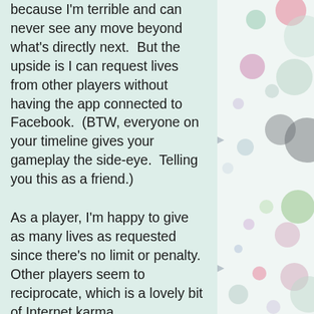because I'm terrible and can never see any move beyond what's directly next.  But the upside is I can request lives from other players without having the app connected to Facebook.  (BTW, everyone on your timeline gives your gameplay the side-eye.  Telling you this as a friend.)
As a player, I'm happy to give as many lives as requested since there's no limit or penalty.  Other players seem to reciprocate, which is a lovely bit of Internet karma.
Everyone in my smallish, randomly assigned network is allowed the option of adding a screen name
[Figure (illustration): Decorative right panel with colorful circles/dots of various sizes in green, pink, purple, gray, and teal on a light background]